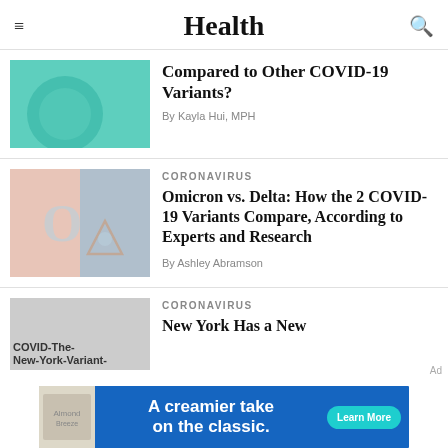Health
[Figure (illustration): Teal/green abstract COVID illustration]
Compared to Other COVID-19 Variants?
By Kayla Hui, MPH
[Figure (illustration): Omicron vs Delta graphic with letter O and triangle shapes in pink and blue]
CORONAVIRUS
Omicron vs. Delta: How the 2 COVID-19 Variants Compare, According to Experts and Research
By Ashley Abramson
[Figure (photo): COVID The New York Variant thumbnail image]
CORONAVIRUS
New York Has a New
[Figure (illustration): Almond Breeze advertisement: A creamier take on the classic. Learn More]
Ad